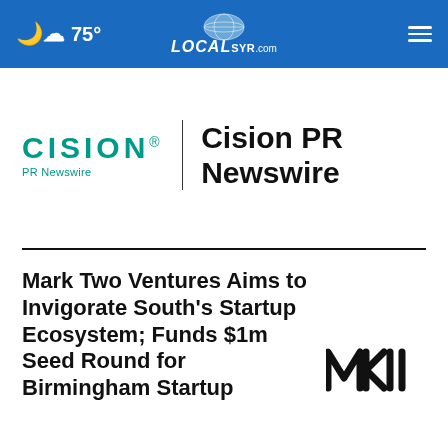☁ 75° | LOCAL SYR.com
[Figure (logo): Cision PR Newswire logo with teal CISION wordmark, vertical divider, and bold black 'Cision PR Newswire' text]
Mark Two Ventures Aims to Invigorate South's Startup Ecosystem; Funds $1m Seed Round for Birmingham Startup
[Figure (logo): MKII logo in black bold stylized text]